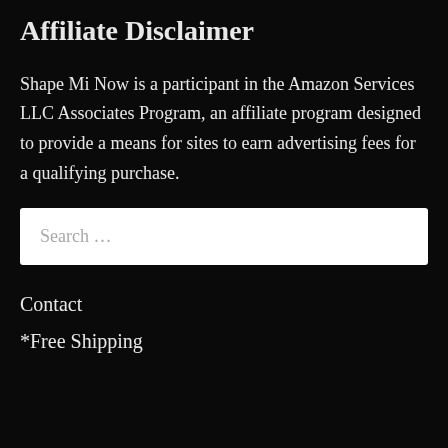Affiliate Disclaimer
Shape Mi Now is a participant in the Amazon Services LLC Associates Program, an affiliate program designed to provide a means for sites to earn advertising fees for a qualifying purchase.
Search …
Contact
*Free Shipping